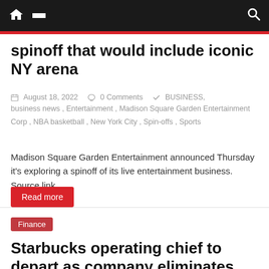Navigation bar with home, menu, and search icons
spinoff that would include iconic NY arena
August 18, 2022 | 0 Comments | BUSINESS, business news, Entertainment, Madison Square Garden Entertainment Corp, NBA basketball, New York City, Spin-offs, Sports
Madison Square Garden Entertainment announced Thursday it's exploring a spinoff of its live entertainment business. Source link
Read more
Finance
Starbucks operating chief to depart as company eliminates role under